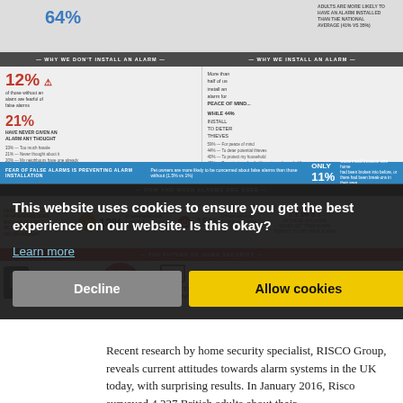[Figure (infographic): Home security alarm infographic showing statistics about alarm installation, reasons for and against, how alarms are used, and future of home security. Key stats: 64% of alarms installed at home, 12% fearful of false alarms, 21% never given alarm thought, only 11% would install due to break-in, 12% activate alarm daily, 15% rarely/never set alarm, 1 in 5 forget to set alarm, 70% of 16-34 year olds interested in smartphone-operated alarms, 54% interested in connected household systems.]
This website uses cookies to ensure you get the best experience on our website. Is this okay?
Learn more
Decline
Allow cookies
Recent research by home security specialist, RISCO Group, reveals current attitudes towards alarm systems in the UK today, with surprising results. In January 2016, Risco surveyed 4,237 British adults about their